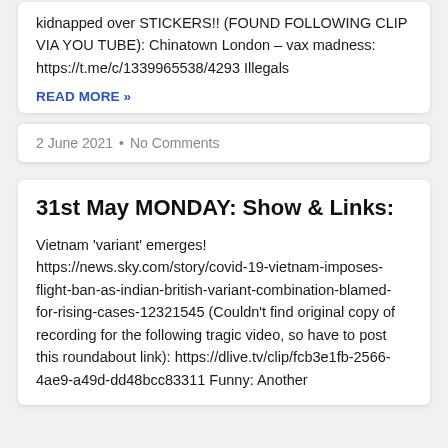kidnapped over STICKERS!! (FOUND FOLLOWING CLIP VIA YOU TUBE): Chinatown London – vax madness: https://t.me/c/1339965538/4293 Illegals
READ MORE »
2 June 2021  •  No Comments
31st May MONDAY: Show & Links:
Vietnam 'variant' emerges! https://news.sky.com/story/covid-19-vietnam-imposes-flight-ban-as-indian-british-variant-combination-blamed-for-rising-cases-12321545 (Couldn't find original copy of recording for the following tragic video, so have to post this roundabout link): https://dlive.tv/clip/fcb3e1fb-2566-4ae9-a49d-dd48bcc83311 Funny: Another